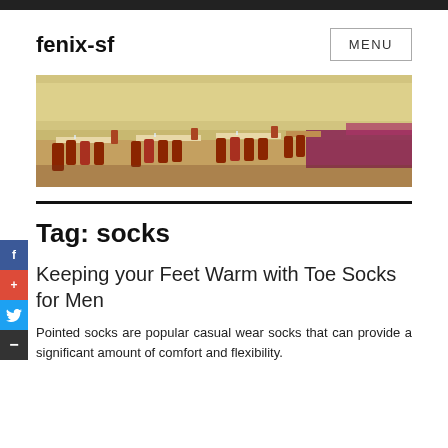fenix-sf | MENU
[Figure (photo): Wide-angle photo of a banquet or conference dining hall with rows of tables set with chairs, red table coverings, and glassware, with large windows in the background.]
Tag: socks
Keeping your Feet Warm with Toe Socks for Men
Pointed socks are popular casual wear socks that can provide a significant amount of comfort and flexibility.